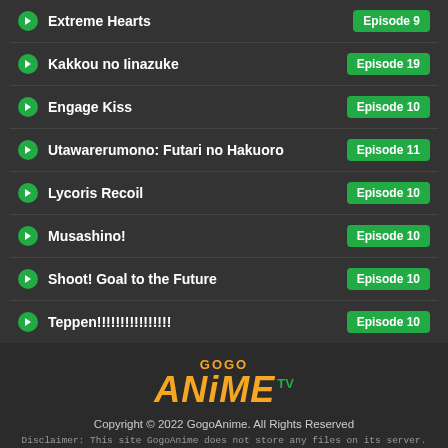Extreme Hearts
Kakkou no Iinazuke
Engage Kiss
Utawarerumono: Futari no Hakuoro
Lycoris Recoil
Musashino!
Shoot! Goal to the Future
Teppen!!!!!!!!!!!!!!!!
[Figure (logo): GogoAnime TV logo with orange italic ANIME text and green TV badge]
Copyright © 2022 GogoAnime. All Rights Reserved
Disclaimer: This site GogoAnime does not store any files on its server. All contents are provided by non-affiliated third parties.